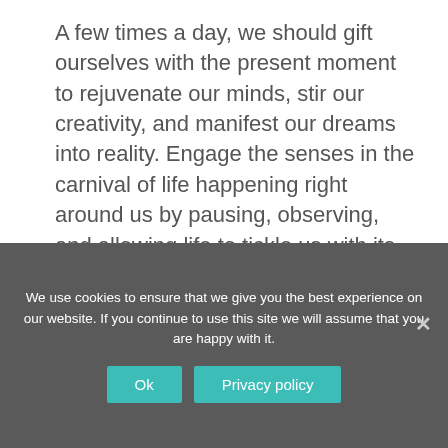A few times a day, we should gift ourselves with the present moment to rejuvenate our minds, stir our creativity, and manifest our dreams into reality. Engage the senses in the carnival of life happening right around us by pausing, observing, and allowing life to tickle us with its clever designs.
[Figure (infographic): Row of social media share buttons: Facebook (dark blue), Twitter (light blue), WhatsApp (green), Pinterest (dark red). Second row: LinkedIn (blue), Tumblr (dark navy), Reddit (orange), Email (dark grey).]
We use cookies to ensure that we give you the best experience on our website. If you continue to use this site we will assume that you are happy with it.
Ok   Privacy policy